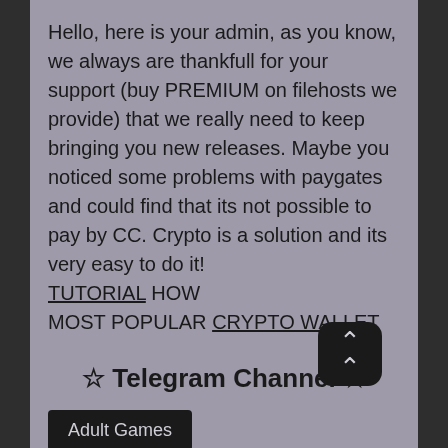Hello, here is your admin, as you know, we always are thankfull for your support (buy PREMIUM on filehosts we provide) that we really need to keep bringing you new releases. Maybe you noticed some problems with paygates and could find that its not possible to pay by CC. Crypto is a solution and its very easy to do it! TUTORIAL HOW
MOST POPULAR CRYPTO WALLET
☆ Telegram Channel ☆
Adult Games
2DCG  Adventure  Bdsm  Big Ass  Big Tits